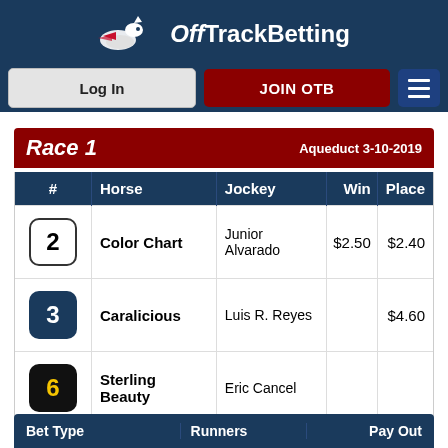OffTrackBetting — Log In | JOIN OTB
Race 1   Aqueduct 3-10-2019
| # | Horse | Jockey | Win | Place |
| --- | --- | --- | --- | --- |
| 2 | Color Chart | Junior Alvarado | $2.50 | $2.40 |
| 3 | Caralicious | Luis R. Reyes |  | $4.60 |
| 6 | Sterling Beauty | Eric Cancel |  |  |
| Bet Type | Runners | Pay Out |
| --- | --- | --- |